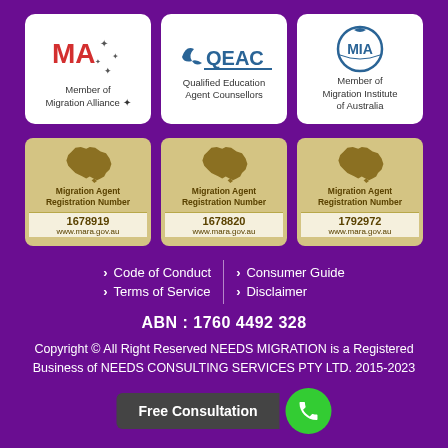[Figure (logo): Member of Migration Alliance logo - red MA text with stars]
[Figure (logo): QEAC - Qualified Education Agent Counsellors logo]
[Figure (logo): MIA - Member of Migration Institute of Australia logo]
[Figure (infographic): Migration Agent Registration Number 1678919 badge with Australia map, www.mara.gov.au]
[Figure (infographic): Migration Agent Registration Number 1678820 badge with Australia map, www.mara.gov.au]
[Figure (infographic): Migration Agent Registration Number 1792972 badge with Australia map, www.mara.gov.au]
Code of Conduct
Consumer Guide
Terms of Service
Disclaimer
ABN : 1760 4492 328
Copyright © All Right Reserved NEEDS MIGRATION is a Registered Business of NEEDS CONSULTING SERVICES PTY LTD.  2015-2023
Free Consultation